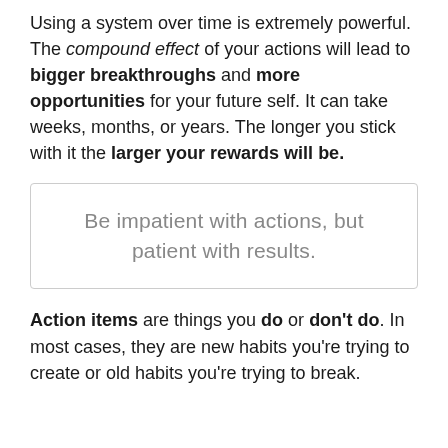Using a system over time is extremely powerful. The compound effect of your actions will lead to bigger breakthroughs and more opportunities for your future self. It can take weeks, months, or years. The longer you stick with it the larger your rewards will be.
Be impatient with actions, but patient with results.
Action items are things you do or don't do. In most cases, they are new habits you're trying to create or old habits you're trying to break.